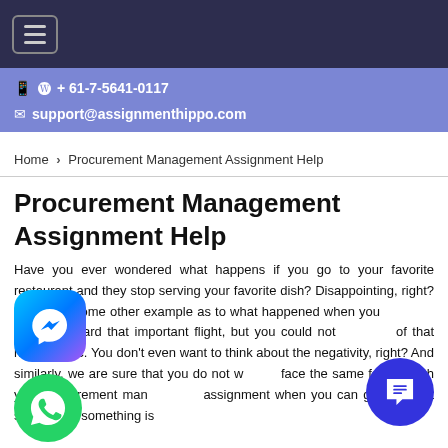≡ (hamburger menu)
📱 © + 61-7-5641-0117
✉ support@assignmenthippo.com
Home › Procurement Management Assignment Help
Procurement Management Assignment Help
Have you ever wondered what happens if you go to your favorite restaurant and they stop serving your favorite dish? Disappointing, right? Let's take some other example as to what happened when you are about to board that important flight, but you could not because of that heavy traffic. You don't even want to think about the negativity, right? And similarly, we are sure that you do not want to face the same feeling with your procurement management assignment when you can get the best scores and something is